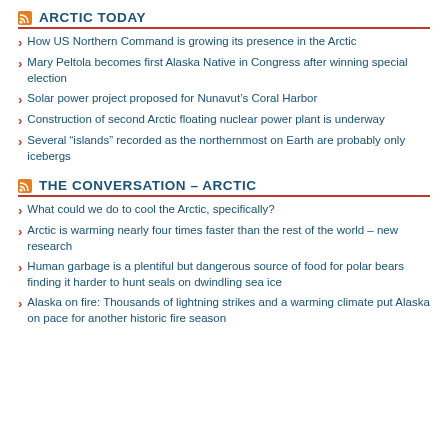ARCTIC TODAY
How US Northern Command is growing its presence in the Arctic
Mary Peltola becomes first Alaska Native in Congress after winning special election
Solar power project proposed for Nunavut's Coral Harbor
Construction of second Arctic floating nuclear power plant is underway
Several “islands” recorded as the northernmost on Earth are probably only icebergs
THE CONVERSATION – ARCTIC
What could we do to cool the Arctic, specifically?
Arctic is warming nearly four times faster than the rest of the world – new research
Human garbage is a plentiful but dangerous source of food for polar bears finding it harder to hunt seals on dwindling sea ice
Alaska on fire: Thousands of lightning strikes and a warming climate put Alaska on pace for another historic fire season